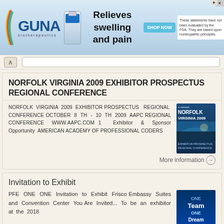[Figure (illustration): GUNA biotherapeutics advertisement banner showing product bottle, 'Relieves swelling and pain' slogan, 'SHOP NOW' button, and FDA disclaimer]
NORFOLK VIRGINIA 2009 EXHIBITOR PROSPECTUS REGIONAL CONFERENCE
NORFOLK VIRGINIA 2009 EXHIBITOR PROSPECTUS REGIONAL CONFERENCE OCTOBER 8 TH - 10 TH 2009 AAPC REGIONAL CONFERENCE WWW.AAPC.COM 1 Exhibitor & Sponsor Opportunity AMERICAN ACADEMY OF PROFESSIONAL CODERS
More information →
Invitation to Exhibit
PFE ONE ONE Invitation to Exhibit Frisco Embassy Suites and Convention Center You Are Invited... To be an exhibitor at the 2018